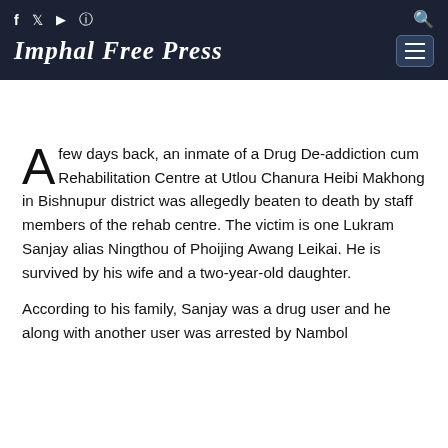Imphal Free Press
A few days back, an inmate of a Drug De-addiction cum Rehabilitation Centre at Utlou Chanura Heibi Makhong in Bishnupur district was allegedly beaten to death by staff members of the rehab centre. The victim is one Lukram Sanjay alias Ningthou of Phoijing Awang Leikai. He is survived by his wife and a two-year-old daughter.
According to his family, Sanjay was a drug user and he along with another user was arrested by Nambol